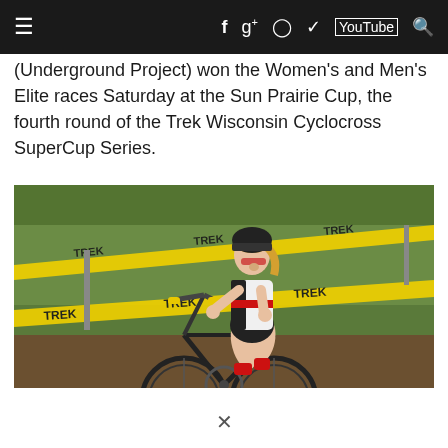Navigation bar with hamburger menu and social icons (Facebook, Google+, Instagram, Twitter, YouTube, Search)
(Underground Project) won the Women's and Men's Elite races Saturday at the Sun Prairie Cup, the fourth round of the Trek Wisconsin Cyclocross SuperCup Series.
[Figure (photo): A female cyclist in a Bontrager jersey riding a cyclocross bike through yellow Trek-branded course tape on a grass course.]